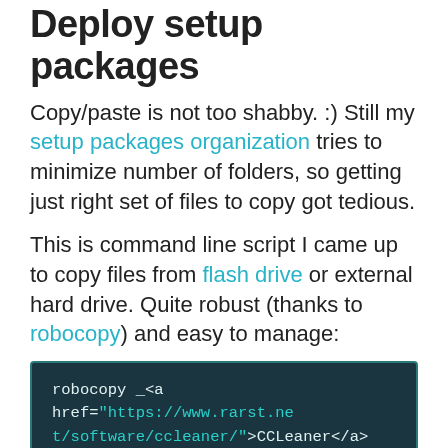Deploy setup packages
Copy/paste is not too shabby. :) Still my setup packages organization tries to minimize number of folders, so getting just right set of files to copy got tedious.
This is command line script I came up to copy files from flash drive or external hard drive. Quite robust (thanks to robocopy) and easy to manage:
robocopy _<a href="https://www.rarst.net/software/ccleaner/">CCLeaner</a> d:\Install\_CCleaner /s /purge
robocopy _<a href="https://www.rarst.net/software/revo-uninstaller/">Revo</a> d:\Install\_Revo /s /purge